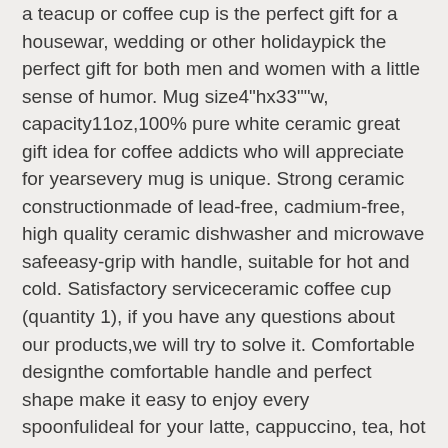a teacup or coffee cup is the perfect gift for a housewar, wedding or other holidaypick the perfect gift for both men and women with a little sense of humor. Mug size4"hx33""w, capacity11oz,100% pure white ceramic great gift idea for coffee addicts who will appreciate for yearsevery mug is unique. Strong ceramic constructionmade of lead-free, cadmium-free, high quality ceramic dishwasher and microwave safeeasy-grip with handle, suitable for hot and cold. Satisfactory serviceceramic coffee cup (quantity 1), if you have any questions about our products,we will try to solve it. Comfortable designthe comfortable handle and perfect shape make it easy to enjoy every spoonfulideal for your latte, cappuccino, tea, hot cocoa etccan be used in homes, cafes and offices.